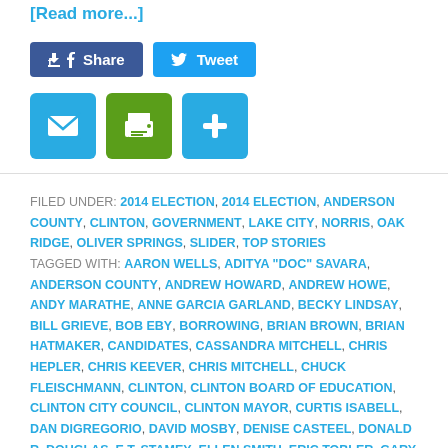[Read more...]
[Figure (screenshot): Social share buttons: Facebook Share (dark blue) and Twitter Tweet (light blue)]
[Figure (screenshot): Icon buttons: email (blue envelope), print (green printer), plus/share (blue plus sign)]
FILED UNDER: 2014 ELECTION, 2014 ELECTION, ANDERSON COUNTY, CLINTON, GOVERNMENT, LAKE CITY, NORRIS, OAK RIDGE, OLIVER SPRINGS, SLIDER, TOP STORIES
TAGGED WITH: AARON WELLS, ADITYA "DOC" SAVARA, ANDERSON COUNTY, ANDREW HOWARD, ANDREW HOWE, ANDY MARATHE, ANNE GARCIA GARLAND, BECKY LINDSAY, BILL GRIEVE, BOB EBY, BORROWING, BRIAN BROWN, BRIAN HATMAKER, CANDIDATES, CASSANDRA MITCHELL, CHRIS HEPLER, CHRIS KEEVER, CHRIS MITCHELL, CHUCK FLEISCHMANN, CLINTON, CLINTON BOARD OF EDUCATION, CLINTON CITY COUNCIL, CLINTON MAYOR, CURTIS ISABELL, DAN DIGREGORIO, DAVID MOSBY, DENISE CASTEEL, DONALD R. DOUGLAS, E.T. STAMEY, ELLEN SMITH, ERIC TOBLER, GARY MULLINS, JACK BLACK, JANE MILLER, JEAN HISER, JEFFERY